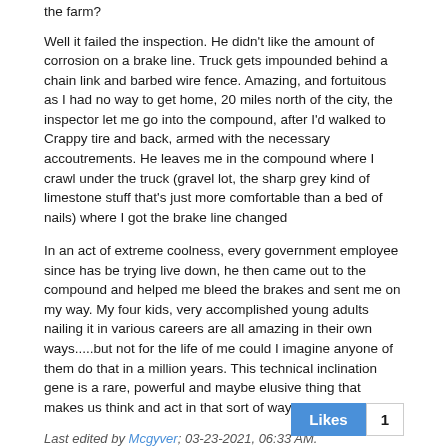the farm?
Well it failed the inspection. He didn't like the amount of corrosion on a brake line. Truck gets impounded behind a chain link and barbed wire fence. Amazing, and fortuitous as I had no way to get home, 20 miles north of the city, the inspector let me go into the compound, after I'd walked to Crappy tire and back, armed with the necessary accoutrements. He leaves me in the compound where I crawl under the truck (gravel lot, the sharp grey kind of limestone stuff that's just more comfortable than a bed of nails) where I got the brake line changed
In an act of extreme coolness, every government employee since has be trying live down, he then came out to the compound and helped me bleed the brakes and sent me on my way. My four kids, very accomplished young adults nailing it in various careers are all amazing in their own ways.....but not for the life of me could I imagine anyone of them do that in a million years. This technical inclination gene is a rare, powerful and maybe elusive thing that makes us think and act in that sort of way.
Last edited by Mcgyver; 03-23-2021, 06:33 AM.
in Toronto Ontario - where are you?